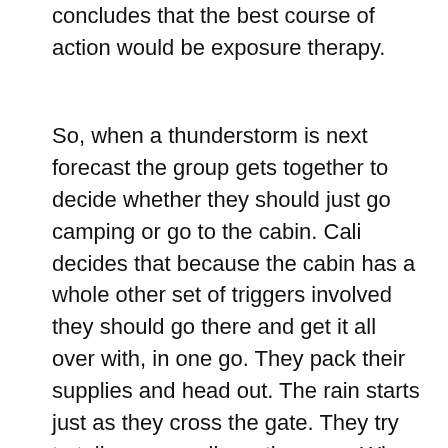concludes that the best course of action would be exposure therapy.
So, when a thunderstorm is next forecast the group gets together to decide whether they should just go camping or go to the cabin. Cali decides that because the cabin has a whole other set of triggers involved they should go there and get it all over with, in one go. They pack their supplies and head out. The rain starts just as they cross the gate. They try to talk as normally as they can. When they get to the point where Cali fell she freezes. The rest stop and ask her what is wrong. She sits down and thinks, whispering every now and again. She decides there isn't a problem and starts to stand, just then thunder booms through the air. She drops and curls up crying uncontrollably. Emerson goes over to comfort her. After a few minutes, she gets up and wipes her face.